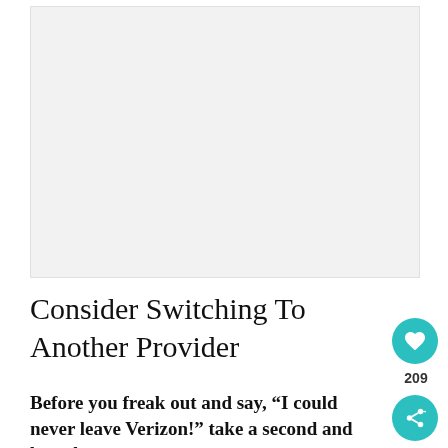[Figure (photo): Light gray placeholder image area at the top of the page]
Consider Switching To Another Provider
Before you freak out and say, “I could never leave Verizon!” take a second and breathe.